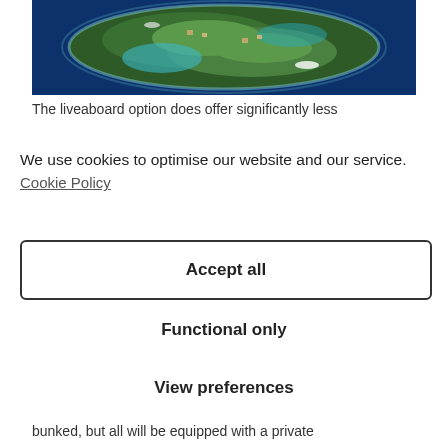[Figure (photo): Aerial view of a tropical island surrounded by blue ocean water, with green vegetation and some structures visible]
The liveaboard option does offer significantly less
We use cookies to optimise our website and our service.
Cookie Policy
Accept all
Functional only
View preferences
bunked, but all will be equipped with a private